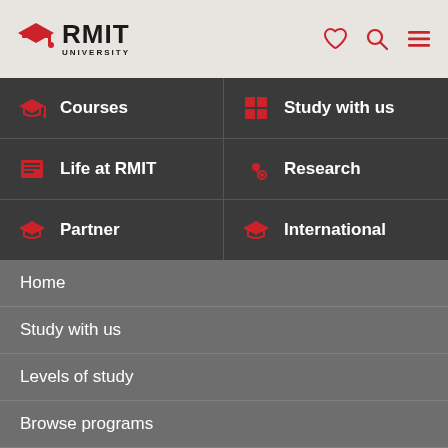[Figure (logo): RMIT University logo with red diamond/hat icon and bold RMIT UNIVERSITY text]
Courses
Study with us
Life at RMIT
Research
Partner
International
Home
Study with us
Levels of study
Browse programs
Bachelor degrees
Bachelor of Laws